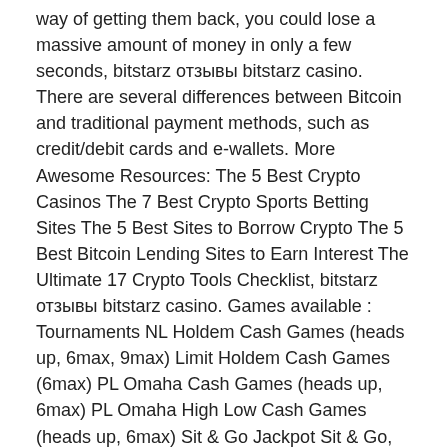way of getting them back, you could lose a massive amount of money in only a few seconds, bitstarz отзывы bitstarz casino. There are several differences between Bitcoin and traditional payment methods, such as credit/debit cards and e-wallets. More Awesome Resources: The 5 Best Crypto Casinos The 7 Best Crypto Sports Betting Sites The 5 Best Sites to Borrow Crypto The 5 Best Bitcoin Lending Sites to Earn Interest The Ultimate 17 Crypto Tools Checklist, bitstarz отзывы bitstarz casino. Games available : Tournaments NL Holdem Cash Games (heads up, 6max, 9max) Limit Holdem Cash Games (6max) PL Omaha Cash Games (heads up, 6max) PL Omaha High Low Cash Games (heads up, 6max) Sit & Go Jackpot Sit & Go, bitstarz отзывы bitstarz casino. Major tournament : $100,000 GTD every Sunday. Bitcoin Poker Bonus : 100% welcome bonus up to $1,000.